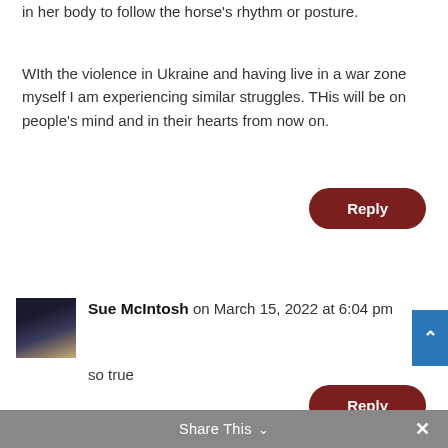in her body to follow the horse's rhythm or posture.
WIth the violence in Ukraine and having live in a war zone myself I am experiencing similar struggles. THis will be on people's mind and in their hearts from now on.
Reply
Sue McIntosh on March 15, 2022 at 6:04 pm
so true
Reply
Share This ∨